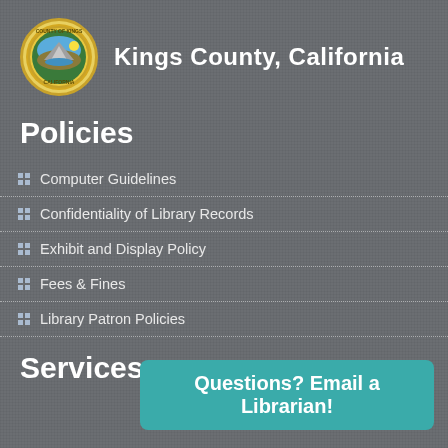Kings County, California
Policies
Computer Guidelines
Confidentiality of Library Records
Exhibit and Display Policy
Fees & Fines
Library Patron Policies
Services
Questions? Email a Librarian!